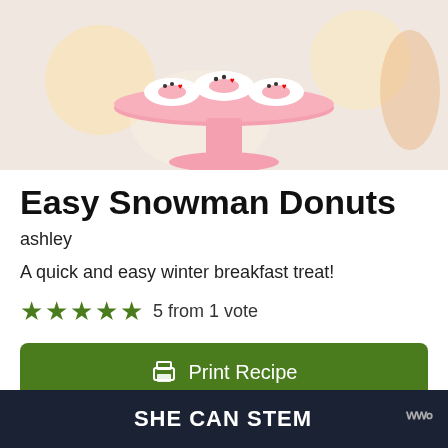[Figure (photo): Photo of snowman donuts displayed on a pink cake stand with warm bokeh lights in the background]
Easy Snowman Donuts
ashley
A quick and easy winter breakfast treat!
5 from 1 vote
Print Recipe
Pin Recipe
SHE CAN STEM